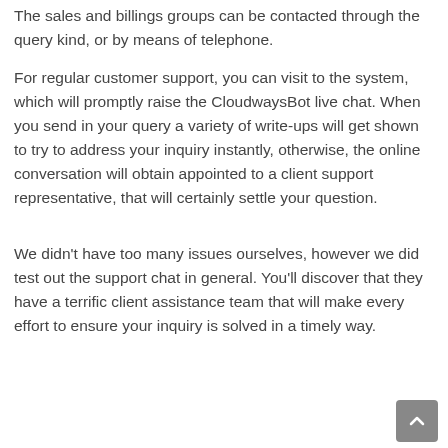The sales and billings groups can be contacted through the query kind, or by means of telephone.
For regular customer support, you can visit to the system, which will promptly raise the CloudwaysBot live chat. When you send in your query a variety of write-ups will get shown to try to address your inquiry instantly, otherwise, the online conversation will obtain appointed to a client support representative, that will certainly settle your question.
We didn't have too many issues ourselves, however we did test out the support chat in general. You'll discover that they have a terrific client assistance team that will make every effort to ensure your inquiry is solved in a timely way.